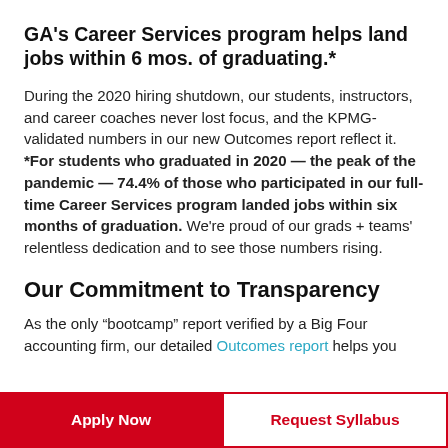GA's Career Services program helps land jobs within 6 mos. of graduating.*
During the 2020 hiring shutdown, our students, instructors, and career coaches never lost focus, and the KPMG-validated numbers in our new Outcomes report reflect it. *For students who graduated in 2020 — the peak of the pandemic — 74.4% of those who participated in our full-time Career Services program landed jobs within six months of graduation. We're proud of our grads + teams' relentless dedication and to see those numbers rising.
Our Commitment to Transparency
As the only “bootcamp” report verified by a Big Four accounting firm, our detailed Outcomes report helps you
Apply Now
Request Syllabus